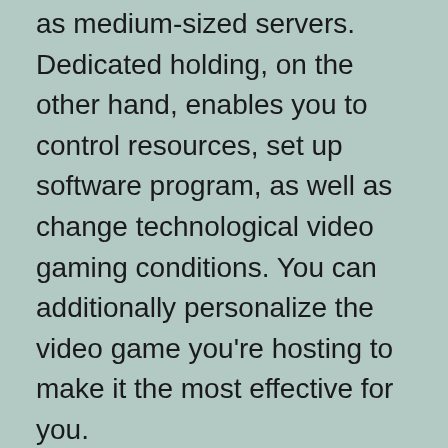as medium-sized servers. Dedicated holding, on the other hand, enables you to control resources, set up software program, as well as change technological video gaming conditions. You can additionally personalize the video game you're hosting to make it the most effective for you.
While GameServers has more factors of presence than any other game server organizing company, it's a little bit lacking in crucial attributes and also info. Still, if you're trying to find a reliable host or a details place, Game Servers is a great option below. The